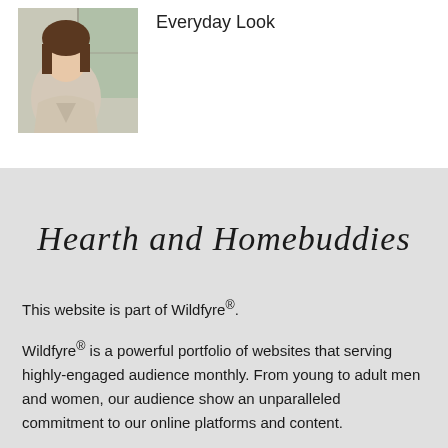[Figure (photo): Portrait photo of a woman with brown hair near a window]
Everyday Look
Hearth and Homebuddies
This website is part of Wildfyre®.
Wildfyre® is a powerful portfolio of websites that serving highly-engaged audience monthly. From young to adult men and women, our audience show an unparalleled commitment to our online platforms and content.